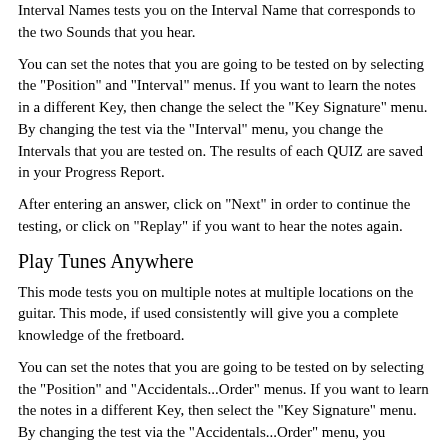Interval Names tests you on the Interval Name that corresponds to the two Sounds that you hear.
You can set the notes that you are going to be tested on by selecting the "Position" and "Interval" menus. If you want to learn the notes in a different Key, then change the select the "Key Signature" menu. By changing the test via the "Interval" menu, you change the Intervals that you are tested on. The results of each QUIZ are saved in your Progress Report.
After entering an answer, click on "Next" in order to continue the testing, or click on "Replay" if you want to hear the notes again.
Play Tunes Anywhere
This mode tests you on multiple notes at multiple locations on the guitar. This mode, if used consistently will give you a complete knowledge of the fretboard.
You can set the notes that you are going to be tested on by selecting the "Position" and "Accidentals...Order" menus. If you want to learn the notes in a different Key, then select the "Key Signature" menu. By changing the test via the "Accidentals...Order" menu, you change the type of accidentals allowed in the test and the order of the Notes that you are tested on. The results of each QUIZ are saved in your Progress Report.